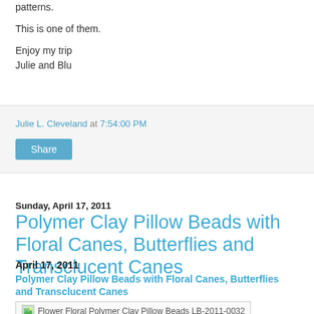patterns.
This is one of them.
Enjoy my trip
Julie and Blu
Julie L. Cleveland at 7:54:00 PM
Share
Sunday, April 17, 2011
Polymer Clay Pillow Beads with Floral Canes, Butterflies and Transclucent Canes
April 17, 2011
Polymer Clay Pillow Beads with Floral Canes, Butterflies and Transclucent Canes
[Figure (photo): Flower Floral Polymer Clay Pillow Beads LB-2011-0032]
Polymer Clay Beads Filled with Flowers and Butterflies!